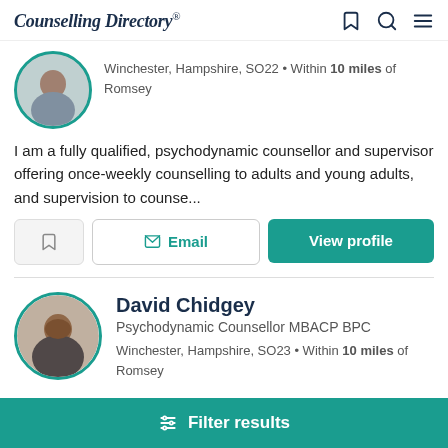Counselling Directory
Winchester, Hampshire, SO22 • Within 10 miles of Romsey
I am a fully qualified, psychodynamic counsellor and supervisor offering once-weekly counselling to adults and young adults, and supervision to counse...
Email | View profile
David Chidgey
Psychodynamic Counsellor MBACP BPC
Winchester, Hampshire, SO23 • Within 10 miles of Romsey
Filter results